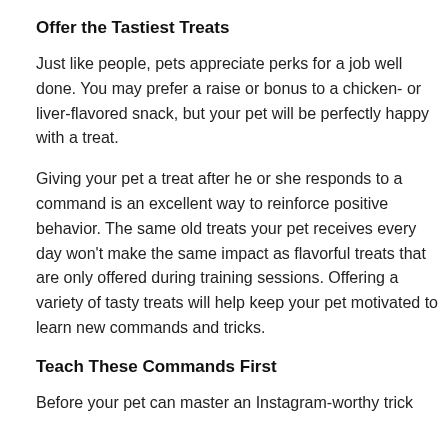Offer the Tastiest Treats
Just like people, pets appreciate perks for a job well done. You may prefer a raise or bonus to a chicken- or liver-flavored snack, but your pet will be perfectly happy with a treat.
Giving your pet a treat after he or she responds to a command is an excellent way to reinforce positive behavior. The same old treats your pet receives every day won't make the same impact as flavorful treats that are only offered during training sessions. Offering a variety of tasty treats will help keep your pet motivated to learn new commands and tricks.
Teach These Commands First
Before your pet can master an Instagram-worthy trick